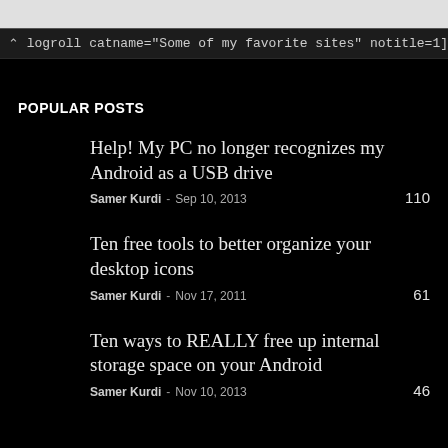logroll catname="Some of my favorite sites" notitle=1]
POPULAR POSTS
Help! My PC no longer recognizes my Android as a USB drive
Samer Kurdi - Sep 10, 2013
110
Ten free tools to better organize your desktop icons
Samer Kurdi - Nov 17, 2011
61
Ten ways to REALLY free up internal storage space on your Android
Samer Kurdi - Nov 10, 2013
46